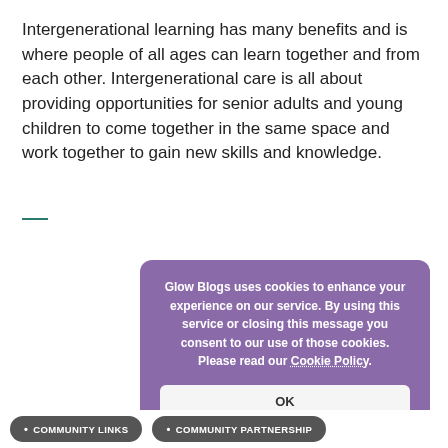Intergenerational learning has many benefits and is where people of all ages can learn together and from each other. Intergenerational care is all about providing opportunities for senior adults and young children to come together in the same space and work together to gain new skills and knowledge.
—
Glow Blogs uses cookies to enhance your experience on our service. By using this service or closing this message you consent to our use of those cookies. Please read our Cookie Policy.
OK
• COMMUNITY LINKS   • COMMUNITY PARTNERSHIP